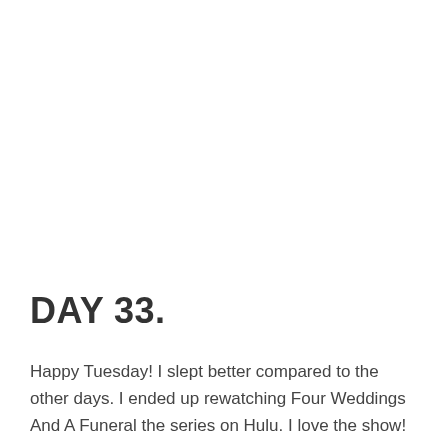DAY 33.
Happy Tuesday! I slept better compared to the other days. I ended up rewatching Four Weddings And A Funeral the series on Hulu. I love the show!